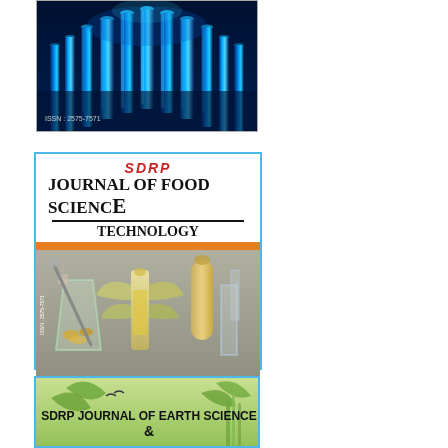[Figure (photo): Journal cover showing blue glowing test tubes arranged in rows, with ISSN: 2575-7571 text overlay at bottom left. Dark scientific laboratory background.]
[Figure (photo): SDRP Journal of Food Science Technology cover. White top area with red 'SDRP' heading and bold black 'Journal of Food Science Technology' title. Orange bar below title. Main image shows laboratory glassware (beaker, flask) with vegetables including corn and cucumber on gray background. ISSN: 2575-7571 printed vertically on left side. Orange bottom bar. Nile River Journals footer text.]
[Figure (photo): SDRP Journal of Earth Science cover. Green nature background with leaves and birds. Bold black text 'SDRP JOURNAL OF EARTH SCIENCE' with an ampersand below visible at bottom of image.]